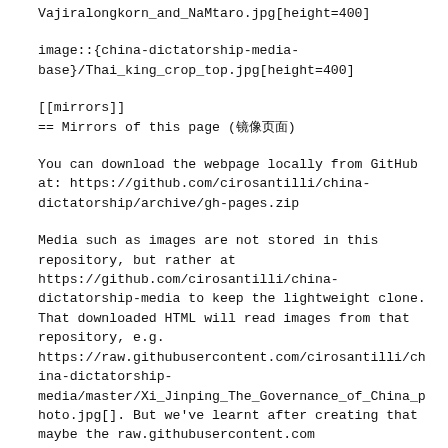Vajiralongkorn_and_NaMtaro.jpg[height=400]
image::{china-dictatorship-media-base}/Thai_king_crop_top.jpg[height=400]
[[mirrors]]
== Mirrors of this page (镜像页面)
You can download the webpage locally from GitHub at: https://github.com/cirosantilli/china-dictatorship/archive/gh-pages.zip
Media such as images are not stored in this repository, but rather at https://github.com/cirosantilli/china-dictatorship-media to keep the lightweight clone. That downloaded HTML will read images from that repository, e.g. https://raw.githubusercontent.com/cirosantilli/china-dictatorship-media/master/Xi_Jinping_The_Governance_of_China_photo.jpg[]. But we've learnt after creating that maybe the raw.githubusercontent.com